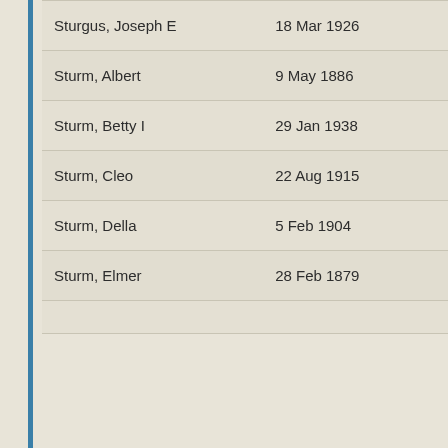| Name | Date |
| --- | --- |
| Sturgus, Joseph E | 18 Mar 1926 |
| Sturm, Albert | 9 May 1886 |
| Sturm, Betty I | 29 Jan 1938 |
| Sturm, Cleo | 22 Aug 1915 |
| Sturm, Della | 5 Feb 1904 |
| Sturm, Elmer | 28 Feb 1879 |